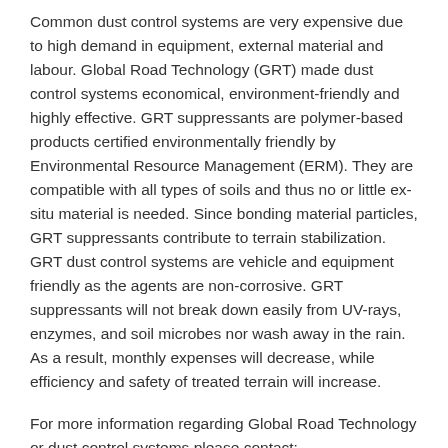Common dust control systems are very expensive due to high demand in equipment, external material and labour. Global Road Technology (GRT) made dust control systems economical, environment-friendly and highly effective. GRT suppressants are polymer-based products certified environmentally friendly by Environmental Resource Management (ERM). They are compatible with all types of soils and thus no or little ex-situ material is needed. Since bonding material particles, GRT suppressants contribute to terrain stabilization. GRT dust control systems are vehicle and equipment friendly as the agents are non-corrosive. GRT suppressants will not break down easily from UV-rays, enzymes, and soil microbes nor wash away in the rain. As a result, monthly expenses will decrease, while efficiency and safety of treated terrain will increase.
For more information regarding Global Road Technology or dust control systems please contact: https://globalroadtechnology.com/contact-grt/